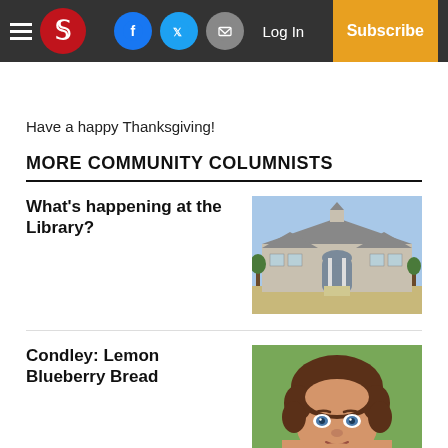W [newspaper logo] | Facebook | Twitter | Mail | Log In | Subscribe
Have a happy Thanksgiving!
MORE COMMUNITY COLUMNISTS
What's happening at the Library?
[Figure (photo): Exterior photo of a library building with arched entrance and metal roof, blue sky in background]
Condley: Lemon Blueberry Bread
[Figure (photo): Close-up photo of a woman with curly brown hair and blue eyes]